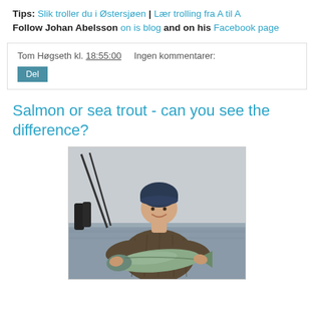Tips: Slik troller du i Østersjøen | Lær trolling fra A til A
Follow Johan Abelsson on is blog and on his Facebook page
Tom Høgseth kl. 18:55:00   Ingen kommentarer:
Del
Salmon or sea trout - can you see the difference?
[Figure (photo): A man wearing a dark jacket and blue beanie hat holding a large salmon or sea trout fish on a boat, with water visible in the background and fishing rods visible on the left side.]